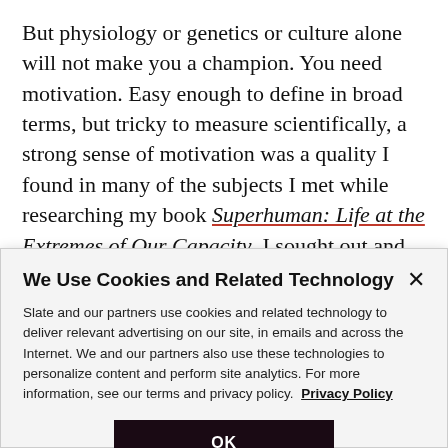But physiology or genetics or culture alone will not make you a champion. You need motivation. Easy enough to define in broad terms, but tricky to measure scientifically, a strong sense of motivation was a quality I found in many of the subjects I met while researching my book Superhuman: Life at the Extremes of Our Capacity. I sought out and met people who are the best in the world in a range of traits, from happiness to
We Use Cookies and Related Technology
Slate and our partners use cookies and related technology to deliver relevant advertising on our site, in emails and across the Internet. We and our partners also use these technologies to personalize content and perform site analytics. For more information, see our terms and privacy policy. Privacy Policy
OK